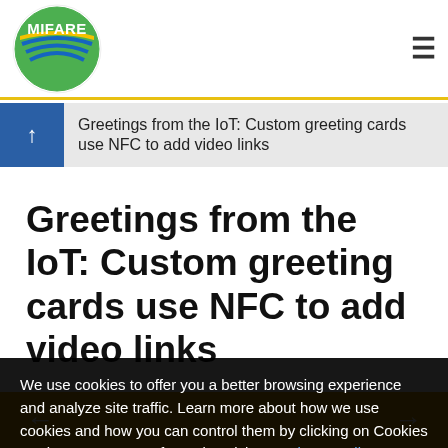MIFARE [logo] | hamburger menu
Greetings from the IoT: Custom greeting cards use NFC to add video links
Greetings from the IoT: Custom greeting cards use NFC to add video links
We use cookies to offer you a better browsing experience and analyze site traffic. Learn more about how we use cookies and how you can control them by clicking on Cookies Settings. For more Information visit our Privacy Policy
Cookies Settings | Allow All
ned online, printed, and then delivered by a postal carre been around for a while. But a new service, called
← →